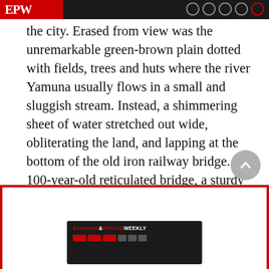EPW
the city. Erased from view was the unremarkable green-brown plain dotted with fields, trees and huts where the river Yamuna usually flows in a small and sluggish stream. Instead, a shimmering sheet of water stretched out wide, obliterating the land, and lapping at the bottom of the old iron railway bridge. The 100-year-old reticulated bridge, a sturdy yet graceful monument to colonial engineering, suddenly appeared vulnerable as strong currents swept water dangerously close, causing trains and road traffic across the bridge to be cancelled.
[Figure (other): Advertisement box with red border and EPW Economic & Political Weekly logo on dark background with red bar graphics]